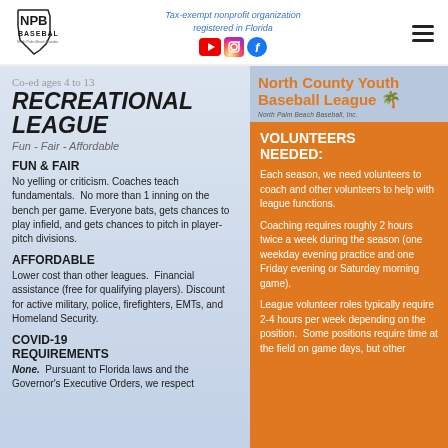NPB BASEBALL | Tax-exempt nonprofit organization registered in Florida
RECREATIONAL LEAGUE
Co-ed ages 4 to 13
Fun - Fair - Affordable
FUN & FAIR
No yelling or criticism. Coaches teach fundamentals. No more than 1 inning on the bench per game. Everyone bats, gets chances to play infield, and gets chances to pitch in player-pitch divisions.
AFFORDABLE
Lower cost than other leagues. Financial assistance (free for qualifying players). Discount for active military, police, firefighters, EMTs, and Homeland Security.
COVID-19 REQUIREMENTS
None. Pursuant to Florida laws and the Governor's Executive Orders, we respect
[Figure (logo): North County Youth Baseball League logo with palm tree]
VOLUNTEERS NEEDED:
Each season, we need volunteers to coach and other volunteers to help with league functions.
Coaching requires roughly 2 hours twice a week during the season (one weekday evening practice and one Friday evening or Saturday morning game).
League volunteer roles typically require 2-4 hours per week depending on the position. Some positions require time at the field on game days, but other